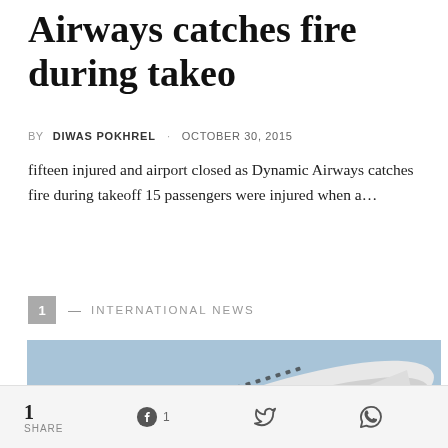Airways catches fire during takeo
BY DIWAS POKHREL · OCTOBER 30, 2015
fifteen injured and airport closed as Dynamic Airways catches fire during takeoff 15 passengers were injured when a...
1 — INTERNATIONAL NEWS
[Figure (photo): Illustration of a white commercial airplane in flight against a blue sky with a blue logo/bird mark on the fuselage]
1 SHARE   1 [Facebook]  [Twitter]  [WhatsApp]